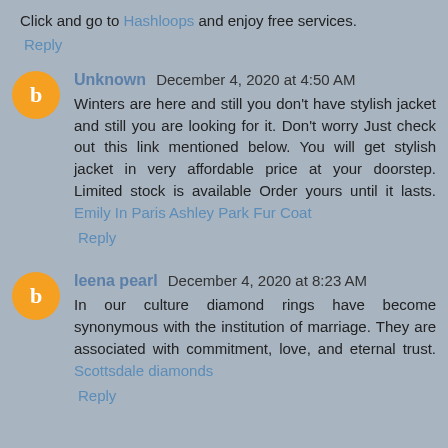Click and go to Hashloops and enjoy free services.
Reply
Unknown December 4, 2020 at 4:50 AM
Winters are here and still you don't have stylish jacket and still you are looking for it. Don't worry Just check out this link mentioned below. You will get stylish jacket in very affordable price at your doorstep. Limited stock is available Order yours until it lasts. Emily In Paris Ashley Park Fur Coat
Reply
leena pearl December 4, 2020 at 8:23 AM
In our culture diamond rings have become synonymous with the institution of marriage. They are associated with commitment, love, and eternal trust. Scottsdale diamonds
Reply